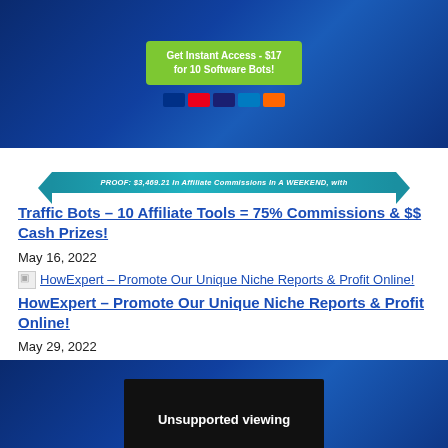[Figure (screenshot): Dark blue banner with green button 'Get Instant Access - $17 for 10 Software Bots!' and payment icons (PayPal, Mastercard, Visa, Amex, Discover)]
[Figure (infographic): Teal ribbon banner with text: PROOF: $3,469.21 In Affiliate Commissions In A WEEKEND, with]
Traffic Bots – 10 Affiliate Tools = 75% Commissions & $$ Cash Prizes!
May 16, 2022
[Figure (screenshot): Broken image icon followed by link text: HowExpert – Promote Our Unique Niche Reports & Profit Online!]
HowExpert – Promote Our Unique Niche Reports & Profit Online!
May 29, 2022
[Figure (screenshot): Dark blue banner with embedded video showing 'Unsupported viewing' message]